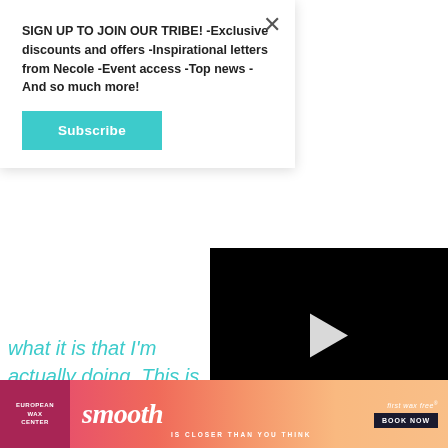[Figure (screenshot): Popup overlay with tribe signup message and subscribe button]
SIGN UP TO JOIN OUR TRIBE! -Exclusive discounts and offers -Inspirational letters from Necole -Event access -Top news -And so much more!
Subscribe
what it is that I'm actually doing. This is the first time.' So I was holding back tears even doing that. But after that first five [minutes] I was blown away by how much comfort I felt from just speaking to somebody out there... having somebody lis[tening] – and knowing I didn't have to [be alone]
[Figure (screenshot): Embedded video player with black background, play button, progress bar, mute icon, time 00:00, and expand button]
[Figure (screenshot): Advertisement banner for European Wax Center with pink/orange gradient, 'smooth IS CLOSER THAN YOU THINK' text, and 'FIRST WAX FREE BOOK NOW' CTA button]